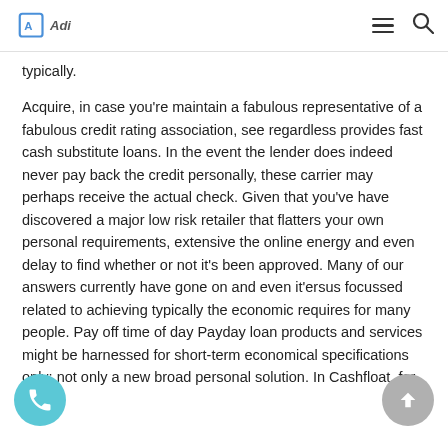Ads
typically.
Acquire, in case you're maintain a fabulous representative of a fabulous credit rating association, see regardless provides fast cash substitute loans. In the event the lender does indeed never pay back the credit personally, these carrier may perhaps receive the actual check. Given that you've have discovered a major low risk retailer that flatters your own personal requirements, extensive the online energy and even delay to find whether or not it's been approved. Many of our answers currently have gone on and even it'ersus focussed related to achieving typically the economic requires for many people. Pay off time of day Payday loan products and services might be harnessed for short-term economical specifications only; not only a new broad personal solution. In Cashfloat, for